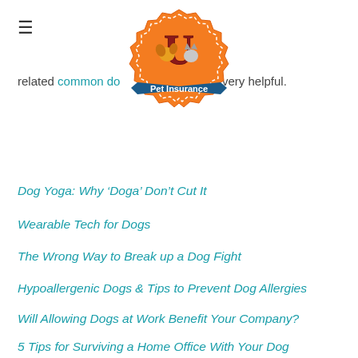[Figure (logo): Pet Insurance U logo — orange badge with blue ribbon banner and cartoon dog and cat]
related common dog conditions articles very helpful.
Dog Yoga: Why ‘Doga’ Don’t Cut It
Wearable Tech for Dogs
The Wrong Way to Break up a Dog Fight
Hypoallergenic Dogs & Tips to Prevent Dog Allergies
Will Allowing Dogs at Work Benefit Your Company?
5 Tips for Surviving a Home Office With Your Dog